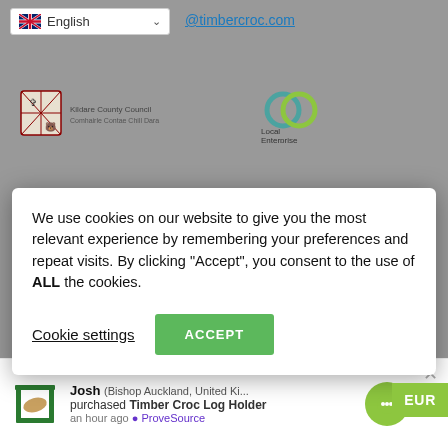[Figure (screenshot): Background of website page with English language selector dropdown, email link @timbercroc.com, Kildare County Council logo, and Local Enterprise Office logo — all greyed out behind cookie consent overlay]
We use cookies on our website to give you the most relevant experience by remembering your preferences and repeat visits. By clicking “Accept”, you consent to the use of ALL the cookies.
Cookie settings
ACCEPT
EUR
[Figure (screenshot): Secure with PayPal banner and payment card logos: VISA, MasterCard, American Express, PayPal, Discover Network]
Josh (Bishop Auckland, United Ki... purchased Timber Croc Log Holder an hour ago ProveSource